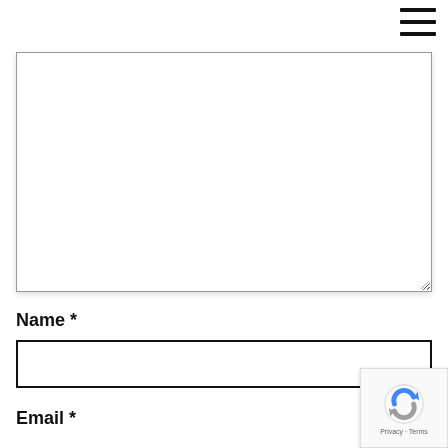[Figure (other): Hamburger menu icon (three horizontal black bars) in upper right corner]
[Figure (screenshot): Large empty text area / comment box with border and resize handle in lower right]
Name *
[Figure (screenshot): Empty text input field for Name]
Email *
[Figure (other): reCAPTCHA badge with Google reCAPTCHA logo and 'Privacy - Terms' text]